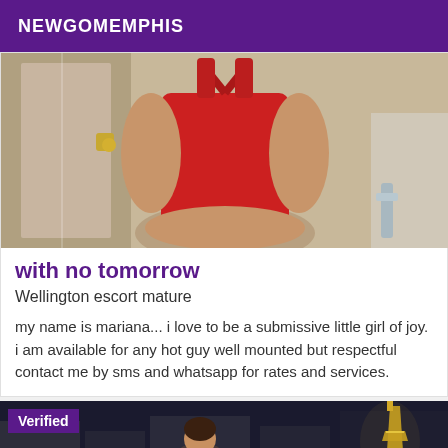NEWGOMEMPHIS
[Figure (photo): Person in red swimsuit taking a mirror selfie in a hotel room]
with no tomorrow
Wellington escort mature
my name is mariana... i love to be a submissive little girl of joy. i am available for any hot guy well mounted but respectful contact me by sms and whatsapp for rates and services.
[Figure (photo): Person outdoors near the Eiffel Tower at night, with a Verified badge overlay]